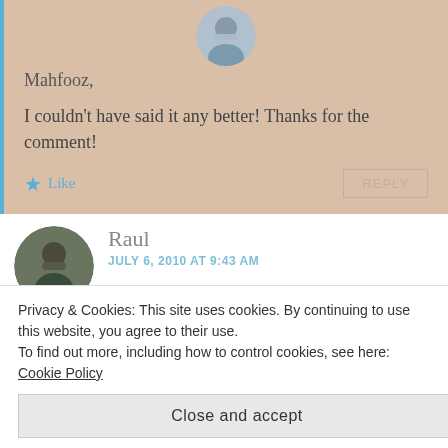[Figure (photo): Circular avatar photo of a person at the top of a beige comment block]
Mahfooz,
I couldn't have said it any better! Thanks for the comment!
★ Like
REPLY
[Figure (photo): Circular avatar photo of Raul sitting outdoors]
Raul
JULY 6, 2010 AT 9:43 AM
Privacy & Cookies: This site uses cookies. By continuing to use this website, you agree to their use.
To find out more, including how to control cookies, see here: Cookie Policy
Close and accept
REPLY